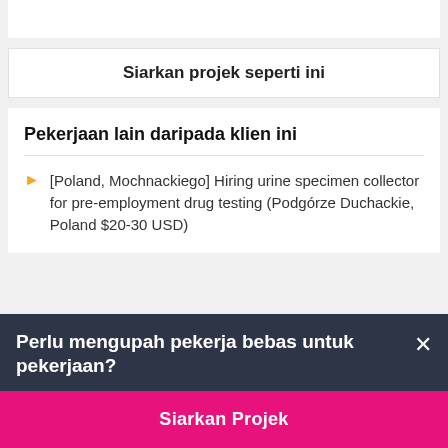Siarkan projek seperti ini
Pekerjaan lain daripada klien ini
[Poland, Mochnackiego] Hiring urine specimen collector for pre-employment drug testing (Podgórze Duchackie, Poland $20-30 USD)
Perlu mengupah pekerja bebas untuk pekerjaan?
Siarkan Projek